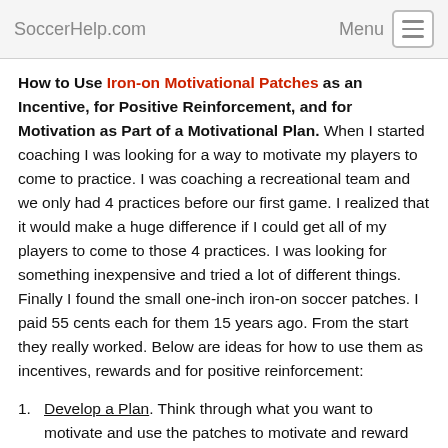SoccerHelp.com   Menu
How to Use Iron-on Motivational Patches as an Incentive, for Positive Reinforcement, and for Motivation as Part of a Motivational Plan. When I started coaching I was looking for a way to motivate my players to come to practice. I was coaching a recreational team and we only had 4 practices before our first game. I realized that it would make a huge difference if I could get all of my players to come to those 4 practices. I was looking for something inexpensive and tried a lot of different things. Finally I found the small one-inch iron-on soccer patches. I paid 55 cents each for them 15 years ago. From the start they really worked. Below are ideas for how to use them as incentives, rewards and for positive reinforcement:
Develop a Plan. Think through what you want to motivate and use the patches to motivate and reward your players. The iron-on patches are used for soccer, baseball,